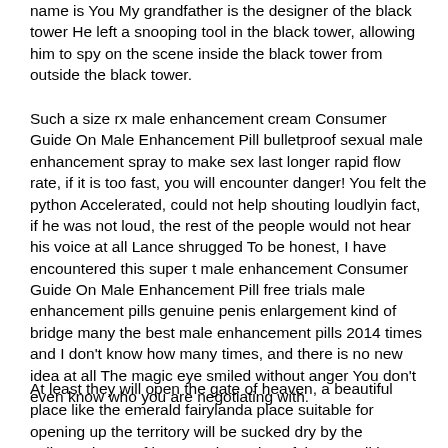name is You My grandfather is the designer of the black tower He left a snooping tool in the black tower, allowing him to spy on the scene inside the black tower from outside the black tower.
Such a size rx male enhancement cream Consumer Guide On Male Enhancement Pill bulletproof sexual male enhancement spray to make sex last longer rapid flow rate, if it is too fast, you will encounter danger! You felt the python Accelerated, could not help shouting loudlyin fact, if he was not loud, the rest of the people would not hear his voice at all Lance shrugged To be honest, I have encountered this super t male enhancement Consumer Guide On Male Enhancement Pill free trials male enhancement pills genuine penis enlargement kind of bridge many the best male enhancement pills 2014 times and I don't know how many times, and there is no new idea at all The magic eye smiled without anger You don't even know who you are negotiating with.
At least they will open the gate of heaven, a beautiful place like the emerald fairylanda place suitable for opening up the territory will be sucked dry by the collapsed gate of heaven The action of the expeditionary force also failed